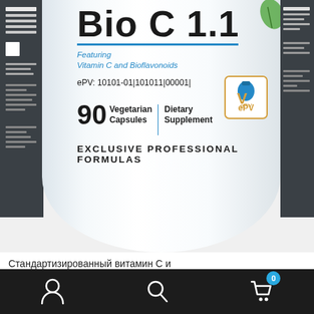[Figure (photo): Close-up of a white supplement bottle labeled 'Bio C 1.1' featuring Vitamin C and Bioflavonoids, 90 Vegetarian Capsules, Dietary Supplement, with ePV badge and text 'EXCLUSIVE PROFESSIONAL FORMULAS'. The bottle has a teal/blue branding line and side panels visible.]
Стандартизированный витамин С и
Navigation bar with user icon, search icon, and cart icon with badge showing 0